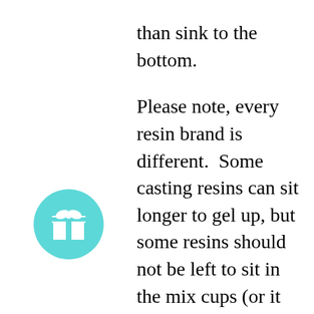than sink to the bottom. Please note, every resin brand is different. Some casting resins can sit longer to gel up, but some resins should not be left to sit in the mix cups (or it can go into pre-mature exotherm, overheat, gel and no longer be used, some call it flash-curing). So be sure you are using the right type of resin for your projects, and using it correctly per manufactures instructions.

Another option some artists choose, is to work in layers. It's more time consuming this way, but some state they are happier with the results this way. Have a tiny clear resin layer in the mould set first, then they put a glitter
[Figure (illustration): Teal/cyan circular icon with a white gift box symbol in the center]